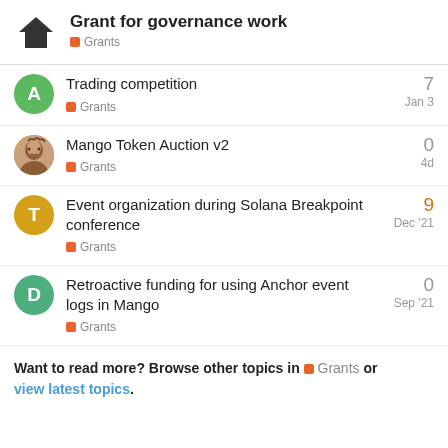Grant for governance work — Grants
Trading competition — Grants — 7 — Jan 3
Mango Token Auction v2 — Grants — 0 — 4d
Event organization during Solana Breakpoint conference — Grants — 9 — Dec '21
Retroactive funding for using Anchor event logs in Mango — Grants — 0 — Sep '21
Want to read more? Browse other topics in Grants or view latest topics.